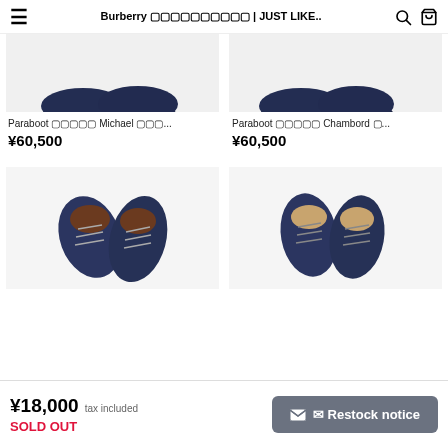Burberry ???????????? | JUST LIKE..
[Figure (photo): Top portion of two dark navy dress shoes product images (cropped at top)]
Paraboot ?????? Michael ???...
¥60,500
[Figure (photo): Top portion of Paraboot Chambord dark navy shoes (cropped at top)]
Paraboot ?????? Chambord ?...
¥60,500
[Figure (photo): Dark navy lace-up oxford shoes photographed from above, showing sole interior, on white background]
[Figure (photo): Dark navy lace-up oxford shoes photographed from above on white background]
¥18,000 tax included
SOLD OUT
Restock notice